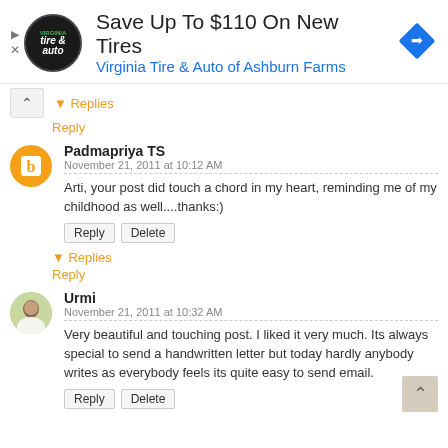[Figure (infographic): Advertisement banner: Virginia Tire & Auto of Ashburn Farms - Save Up To $110 On New Tires]
▾ Replies
Reply
Padmapriya TS
November 21, 2011 at 10:12 AM
Arti, your post did touch a chord in my heart, reminding me of my childhood as well....thanks:)
Reply  Delete
▾ Replies
Reply
Urmi
November 21, 2011 at 10:32 AM
Very beautiful and touching post. I liked it very much. Its always special to send a handwritten letter but today hardly anybody writes as everybody feels its quite easy to send email.
Reply  Delete